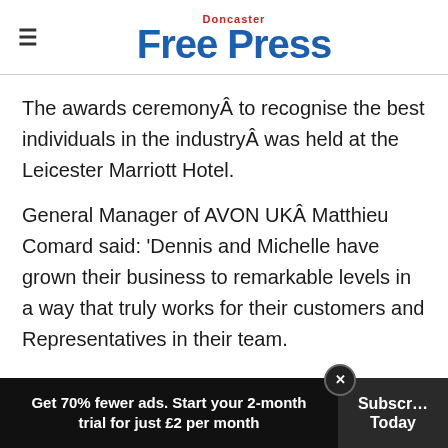Doncaster Free Press
The awards ceremonyÂ to recognise the best individuals in the industryÂ was held at the Leicester Marriott Hotel.
General Manager of AVON UKÂ Matthieu Comard said: 'Dennis and Michelle have grown their business to remarkable levels in a way that truly works for their customers and Representatives in their team.
Get 70% fewer ads. Start your 2-month trial for just £2 per month  Subscribe Today